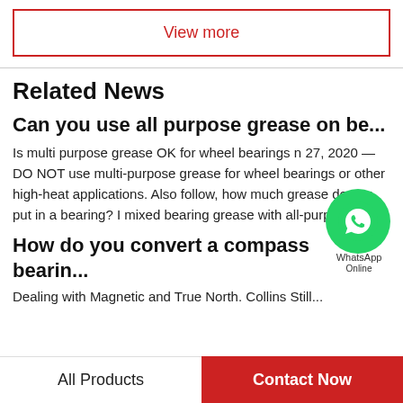View more
Related News
Can you use all purpose grease on be...
Is multi purpose grease OK for wheel bearing n 27, 2020 — DO NOT use multi-purpose grease for wheel bearings or other high-heat applications. Also follow, how much grease do you put in a bearing? I mixed bearing grease with all-purpose...
How do you convert a compass bearin...
All Products   Contact Now